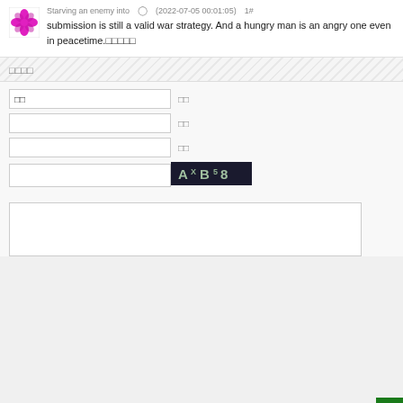Starving an enemy into ◯ (2022-07-05 00:01:05) 1# submission is still a valid war strategy. And a hungry man is an angry one even in peacetime.
□□□□
名前 □□
□□
□□
[Figure (other): CAPTCHA image showing AXB58 on dark background]
Reply textarea (empty)